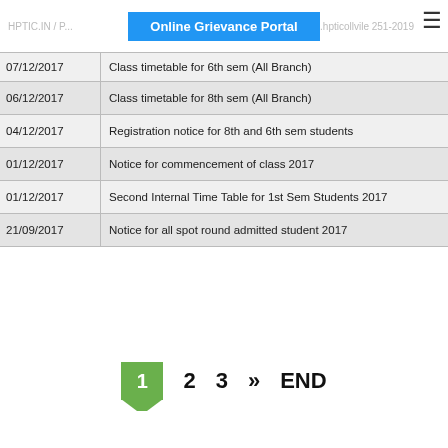Online Grievance Portal
| Date | Notice |
| --- | --- |
| 07/12/2017 | Class timetable for 6th sem (All Branch) |
| 06/12/2017 | Class timetable for 8th sem (All Branch) |
| 04/12/2017 | Registration notice for 8th and 6th sem students |
| 01/12/2017 | Notice for commencement of class 2017 |
| 01/12/2017 | Second Internal Time Table for 1st Sem Students 2017 |
| 21/09/2017 | Notice for all spot round admitted student 2017 |
1  2  3  »  END